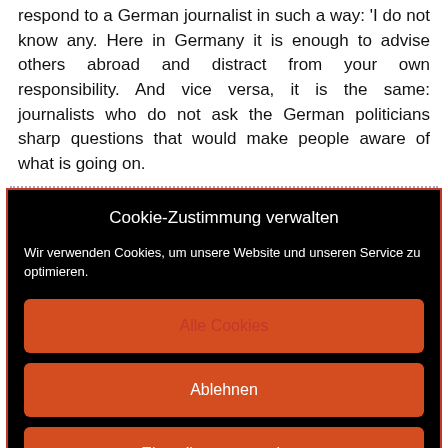respond to a German journalist in such a way: 'I do not know any. Here in Germany it is enough to advise others abroad and distract from your own responsibility. And vice versa, it is the same: journalists who do not ask the German politicians sharp questions that would make people aware of what is going on.
[Figure (screenshot): Cookie consent dialog overlay with black background and red border, containing title 'Cookie-Zustimmung verwalten', description text, and three orange buttons: 'Alle Cookies', 'Ablehnen', 'Einstellungen anzeigen']